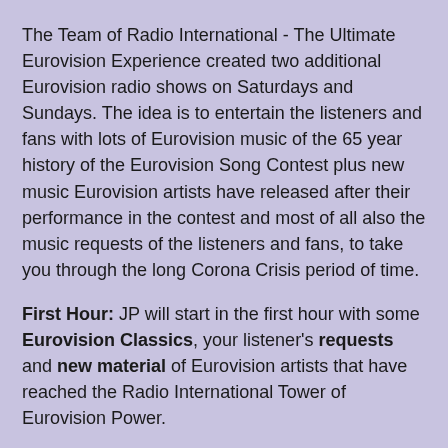The Team of Radio International - The Ultimate Eurovision Experience created two additional Eurovision radio shows on Saturdays and Sundays. The idea is to entertain the listeners and fans with lots of Eurovision music of the 65 year history of the Eurovision Song Contest plus new music Eurovision artists have released after their performance in the contest and most of all also the music requests of the listeners and fans, to take you through the long Corona Crisis period of time.
First Hour: JP will start in the first hour with some Eurovision Classics, your listener's requests and new material of Eurovision artists that have reached the Radio International Tower of Eurovision Power.
Second Hour: JP is joined by Radio International's Alasdair Rendall from London to take a look at some of the 90s Newcomers to the Eurovision Song Contest.
Third Hour: Ratio International's Ross Bennett will be joining JP to take a few Eurovision songs that...